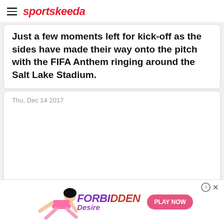sportskeeda
Just a few moments left for kick-off as the sides have made their way onto the pitch with the FIFA Anthem ringing around the Salt Lake Stadium.
Thu, Dec 14 2017